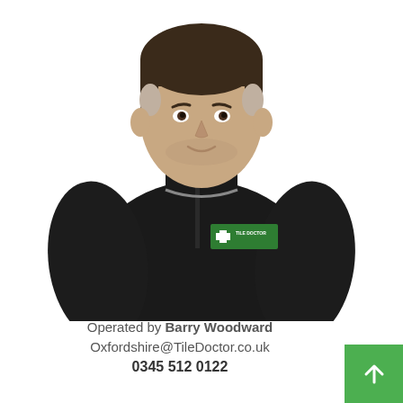[Figure (photo): A man wearing a black fleece jacket with a Tile Doctor logo (green cross and white text) on the chest, smiling at the camera against a white background. The photo is a portrait/headshot style showing the upper body.]
Operated by Barry Woodward
Oxfordshire@TileDoctor.co.uk
0345 512 0122